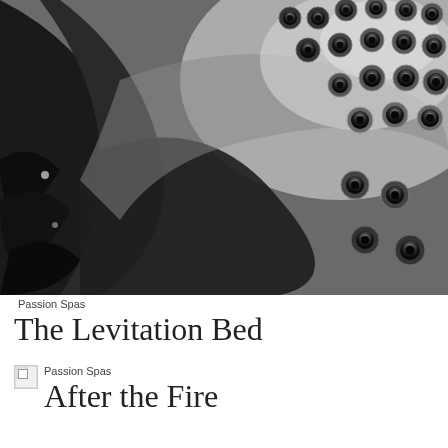[Figure (photo): Close-up black and white photo of a spa or hot tub surface showing curved surfaces and rows of jet nozzles]
Passion Spas
The Levitation Bed
[Figure (photo): Broken/missing image placeholder thumbnail]
Passion Spas
After the Fire